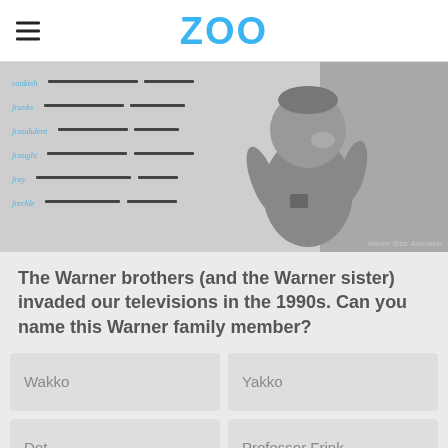ZOO
[Figure (screenshot): Animated character from Animaniacs (Warner Bros. Animation) shown against a dictionary page background, in grayscale/muted tones. Visible dictionary entries include: rankish, franks, fraudulent, fraught, fray, freckle. Watermark: Warner Bros. Animation]
The Warner brothers (and the Warner sister) invaded our televisions in the 1990s. Can you name this Warner family member?
Wakko
Yakko
Dot
Professor Frink